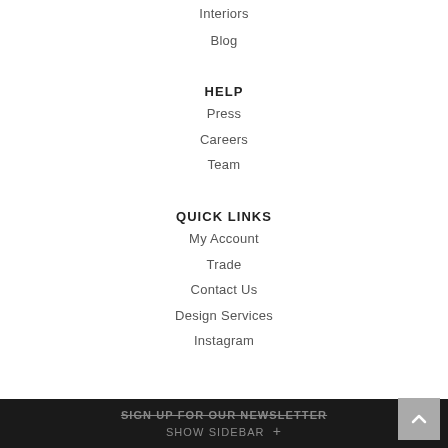Interiors
Blog
HELP
Press
Careers
Team
QUICK LINKS
My Account
Trade
Contact Us
Design Services
Instagram
SIGN UP FOR OUR NEWSLETTER  SHOW SIDEBAR +